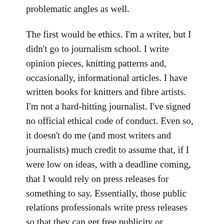problematic angles as well.
The first would be ethics. I'm a writer, but I didn't go to journalism school. I write opinion pieces, knitting patterns and, occasionally, informational articles. I have written books for knitters and fibre artists. I'm not a hard-hitting journalist. I've signed no official ethical code of conduct. Even so, it doesn't do me (and most writers and journalists) much credit to assume that, if I were low on ideas, with a deadline coming, that I would rely on press releases for something to say. Essentially, those public relations professionals write press releases so that they can get free publicity or information distributed for their clients. It's about money, buying and selling.
Now, don't get me wrong, I've written a press release or two of my own. I use them the way most do,